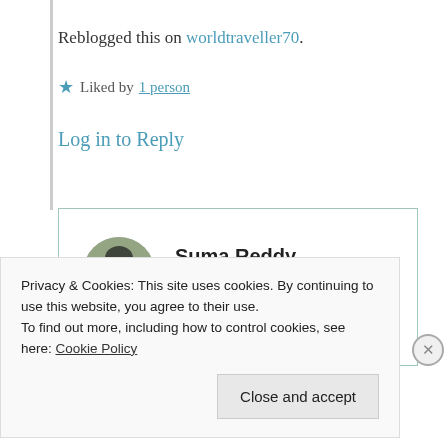Reblogged this on worldtraveller70.
Liked by 1 person
Log in to Reply
[Figure (photo): Circular avatar photo of Suma Reddy]
Suma Reddy
18th Jul 2021 at 9:07 pm
Thank you very much for reblogging
Privacy & Cookies: This site uses cookies. By continuing to use this website, you agree to their use.
To find out more, including how to control cookies, see here: Cookie Policy
Close and accept